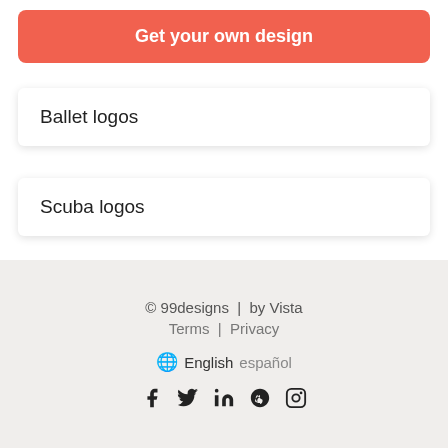[Figure (screenshot): Red rounded button with white bold text 'Get your own design']
Ballet logos
Scuba logos
© 99designs  |  by Vista
Terms  |  Privacy
English  español
f  𝕏  in  Pinterest  Instagram